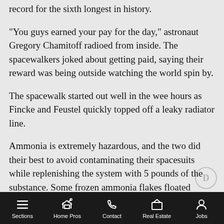record for the sixth longest in history.
"You guys earned your pay for the day," astronaut Gregory Chamitoff radioed from inside. The spacewalkers joked about getting paid, saying their reward was being outside watching the world spin by.
The spacewalk started out well in the wee hours as Fincke and Feustel quickly topped off a leaky radiator line.
Ammonia is extremely hazardous, and the two did their best to avoid contaminating their spacesuits while replenishing the system with 5 pounds of the substance. Some frozen ammonia flakes floated toward Feustel as well as a small icy chunk, but he didn't think any of it got him.
Fincke moved on to preventive maintenance on the joint that
Sections  Home Pros  Contact  Real Estate  Jobs